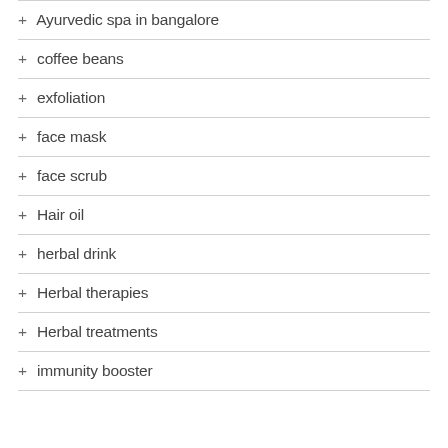+ Ayurvedic spa in bangalore
+ coffee beans
+ exfoliation
+ face mask
+ face scrub
+ Hair oil
+ herbal drink
+ Herbal therapies
+ Herbal treatments
+ immunity booster